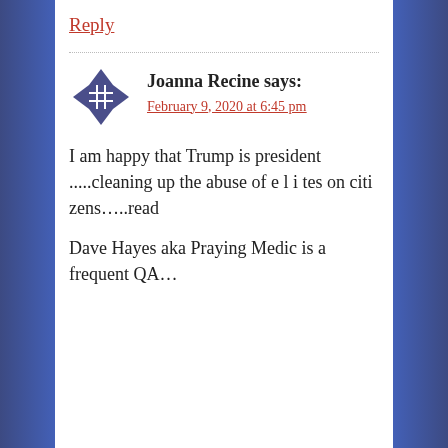Reply
Joanna Recine says:
February 9, 2020 at 6:45 pm
I am happy that Trump is president .....cleaning up the abuse of e l i tes on citi zens.....read
Dave Hayes aka Praying Medic is a frequent QA…